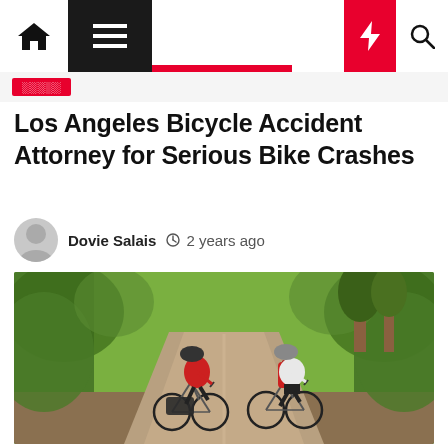Navigation bar with home, menu, moon, flash, and search icons
Los Angeles Bicycle Accident Attorney for Serious Bike Crashes
Dovie Salais  2 years ago
[Figure (photo): Two cyclists riding away on a dirt path through a lush green forest, both wearing helmets and carrying bags/backpacks on their bikes.]